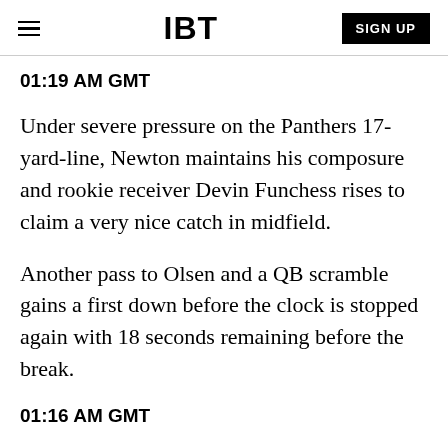IBT | SIGN UP
01:19 AM GMT
Under severe pressure on the Panthers 17-yard-line, Newton maintains his composure and rookie receiver Devin Funchess rises to claim a very nice catch in midfield.
Another pass to Olsen and a QB scramble gains a first down before the clock is stopped again with 18 seconds remaining before the break.
01:16 AM GMT